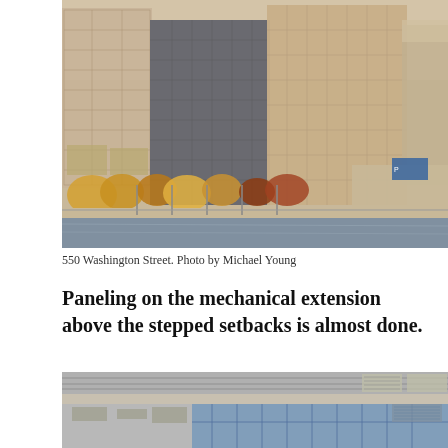[Figure (photo): Waterfront view of 550 Washington Street, a large multi-story office/residential building with glass and concrete facade, trees in autumn colors along the riverbank, viewed from across the water on a sunny day.]
550 Washington Street. Photo by Michael Young
Paneling on the mechanical extension above the stepped setbacks is almost done.
[Figure (photo): Close-up of the upper portion of 550 Washington Street showing the mechanical extension with metal paneling and stepped setbacks above glass curtain wall facade, viewed on a clear day.]